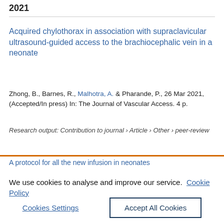2021
Acquired chylothorax in association with supraclavicular ultrasound-guided access to the brachiocephalic vein in a neonate
Zhong, B., Barnes, R., Malhotra, A. & Pharande, P., 26 Mar 2021, (Accepted/In press) In: The Journal of Vascular Access. 4 p.
Research output: Contribution to journal › Article › Other › peer-review
We use cookies to analyse and improve our service. Cookie Policy
Cookies Settings
Accept All Cookies